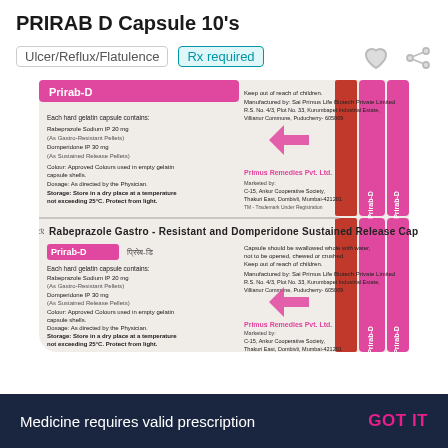PRIRAB D Capsule 10's
Ulcer/Reflux/Flatulence
Rx required
[Figure (photo): Blister pack of PRIRAB D capsules showing two panels. Each panel shows: Prirab-D brand name in magenta, ingredients (Rabeprazole Sodium IP 20mg as Gastro-Resistant Pellets, Domperidone IP 30 mg as Sustained Release Pellets), storage and dosage instructions, Primus Remedies Pvt. Ltd. logo and address. Pink side strips labeled Prirab-D. Product text: Rabeprazole Gastro-Resistant and Domperidone Sustained Release Capsules.]
Medicine requires valid prescription
GOT IT